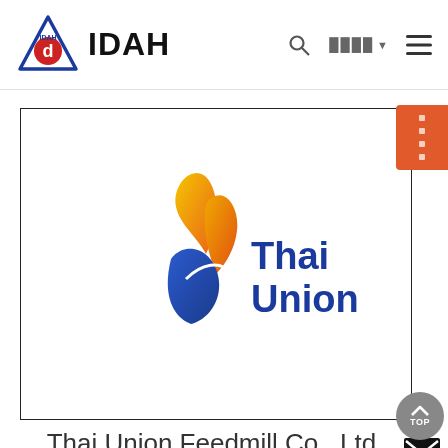[Figure (logo): IDAH company logo - triangle shape with letter d inside, alongside bold text IDAH]
IDAH website navigation header with search icon, language selector, and hamburger menu
[Figure (logo): Thai Union company logo - stylized swoosh shape in yellow, orange, and blue gradient colors, with text 'Thai Union' in blue]
Thai Union Feedmill Co., Ltd.
[Figure (other): Partial lower card with engineering/product diagram at bottom of page]